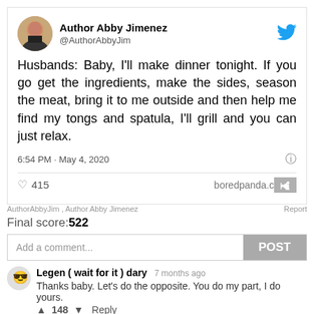[Figure (screenshot): Twitter screenshot showing tweet by Author Abby Jimenez (@AuthorAbbyJim) with profile photo, tweet text, timestamp, likes count, and boredpanda.com watermark, followed by a comment from 'Legen ( wait for it ) dary']
Husbands: Baby, I'll make dinner tonight. If you go get the ingredients, make the sides, season the meat, bring it to me outside and then help me find my tongs and spatula, I'll grill and you can just relax.
6:54 PM · May 4, 2020
415
boredpanda.com
AuthorAbbyJim , Author Abby Jimenez
Final score:522
Add a comment...
Legen ( wait for it ) dary  7 months ago
Thanks baby. Let's do the opposite. You do my part, I do yours.
148  Reply
View More Replies